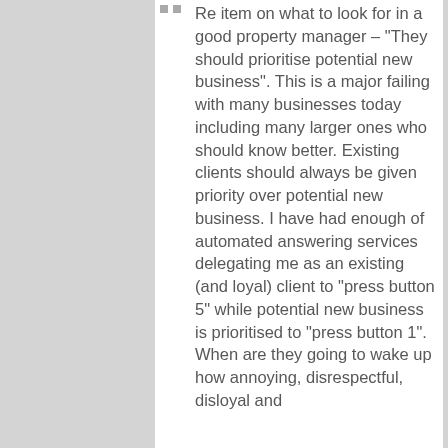Re item on what to look for in a good property manager – "They should prioritise potential new business". This is a major failing with many businesses today including many larger ones who should know better. Existing clients should always be given priority over potential new business. I have had enough of automated answering services delegating me as an existing (and loyal) client to “press button 5” while potential new business is prioritised to “press button 1”. When are they going to wake up how annoying, disrespectful, disloyal and